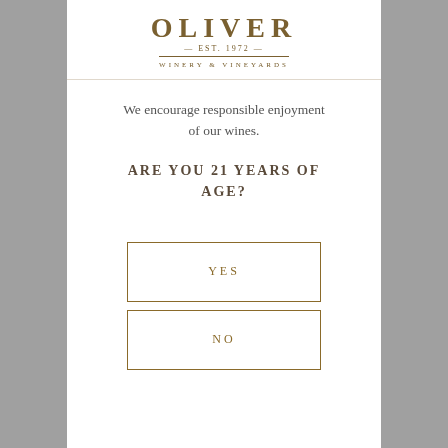[Figure (logo): Oliver Winery & Vineyards logo with stylized text and decorative divider lines]
We encourage responsible enjoyment of our wines.
ARE YOU 21 YEARS OF AGE?
YES
NO